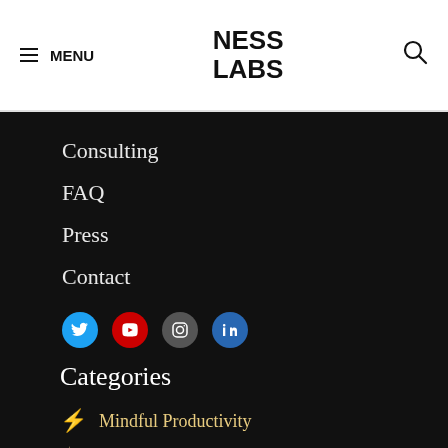MENU | NESS LABS | [search icon]
Consulting
FAQ
Press
Contact
[Figure (illustration): Social media icons row: Twitter (blue circle), YouTube (red circle), Instagram (grey circle), LinkedIn (blue circle)]
Categories
⚡ Mindful Productivity
✦ Better Thinking